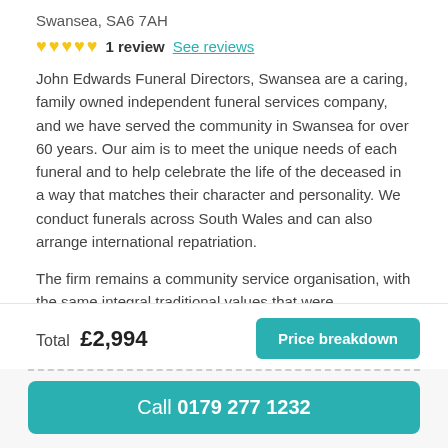Swansea, SA6 7AH
♥♥♥♥♥ 1 review  See reviews
John Edwards Funeral Directors, Swansea are a caring, family owned independent funeral services company, and we have served the community in Swansea for over 60 years. Our aim is to meet the unique needs of each funeral and to help celebrate the life of the deceased in a way that matches their character and personality. We conduct funerals across South Wales and can also arrange international repatriation.
The firm remains a community service organisation, with the same integral traditional values that were established by John
Total  £2,994
Price breakdown
Call 0179 277 1232